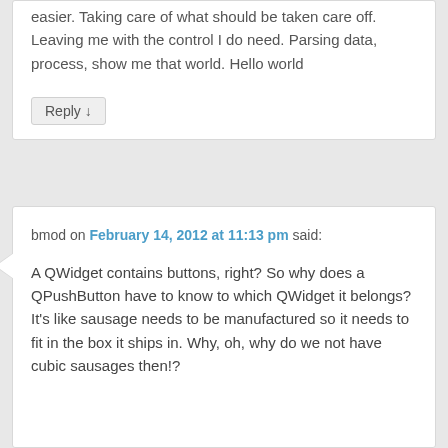easier. Taking care of what should be taken care off. Leaving me with the control I do need. Parsing data, process, show me that world. Hello world
Reply ↓
bmod on February 14, 2012 at 11:13 pm said:
A QWidget contains buttons, right? So why does a QPushButton have to know to which QWidget it belongs?
It's like sausage needs to be manufactured so it needs to fit in the box it ships in. Why, oh, why do we not have cubic sausages then!?